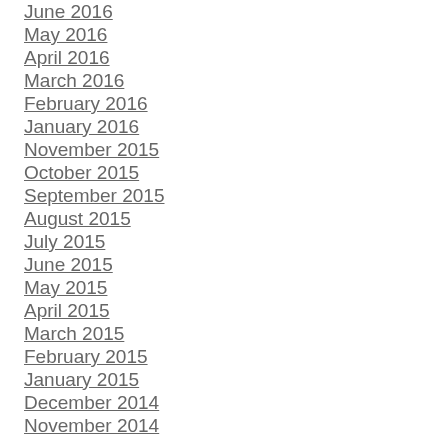June 2016
May 2016
April 2016
March 2016
February 2016
January 2016
November 2015
October 2015
September 2015
August 2015
July 2015
June 2015
May 2015
April 2015
March 2015
February 2015
January 2015
December 2014
November 2014